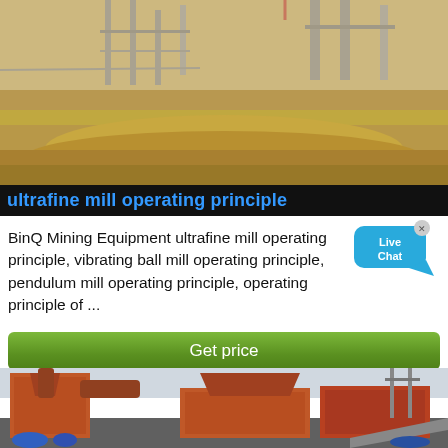[Figure (photo): Outdoor mining/construction site showing sandy ground and industrial structures in the background]
ultrafine mill operating principle
BinQ Mining Equipment ultrafine mill operating principle, vibrating ball mill operating principle, pendulum mill operating principle, operating principle of ...
[Figure (other): Live Chat button/widget]
[Figure (photo): Industrial mining equipment — large orange crusher and dust collector machines at a mining site]